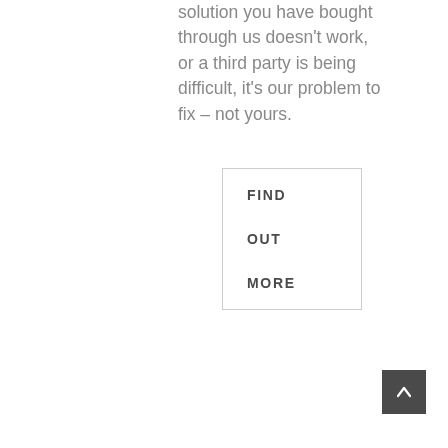solution you have bought through us doesn't work, or a third party is being difficult, it's our problem to fix – not yours.
FIND OUT MORE
[Figure (other): Dark grey square button with a white upward-pointing chevron/caret arrow, serving as a back-to-top navigation button]